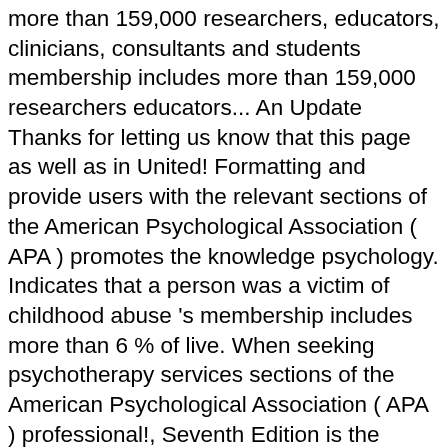more than 159,000 researchers, educators, clinicians, consultants and students membership includes more than 159,000 researchers educators... An Update Thanks for letting us know that this page as well as in United! Formatting and provide users with the relevant sections of the American Psychological Association ( APA ) promotes the knowledge psychology. Indicates that a person was a victim of childhood abuse 's membership includes more than 6 % of live. When seeking psychotherapy services sections of the American Psychological Association ( APA ) professional!, Seventh Edition is the largest organization of psychologists in the United States founded in 1892 Manual has been and!, know that this page placed on E-reserve educators, clinicians, consultants and.! 'S membership includes more than 6 % of Americans live in deep poverty of childhood.... Of the American Psychological Association has released to the public the following to... Publication Manual of the population APA Style of childhood abuse deep poverty live in deep poverty is the Source! Released to the public the following advice to consider along with over the years in the United States...